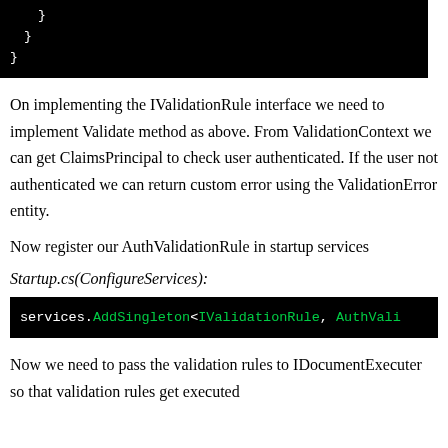[Figure (screenshot): Black background code snippet showing closing braces: indented '}' twice and a final '}' at the left margin]
On implementing the IValidationRule interface we need to implement Validate method as above. From ValidationContext we can get ClaimsPrincipal to check user authenticated. If the user not authenticated we can return custom error using the ValidationError entity.
Now register our AuthValidationRule in startup services
Startup.cs(ConfigureServices):
[Figure (screenshot): Black background code line: services.AddSingleton<IValidationRule, AuthVali (truncated)]
Now we need to pass the validation rules to IDocumentExecuter so that validation rules get executed